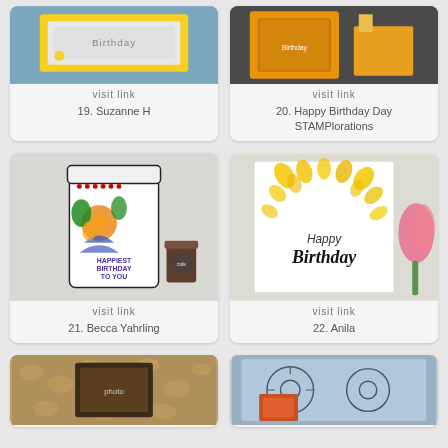[Figure (photo): Birthday card with yellow frame, 'Birthday' text embossed, blue background - item 19]
visit link
19. Suzanne H
[Figure (photo): Birthday card with orange/yellow background and stamp elements - item 20]
visit link
20. Happy Birthday Day STAMPlorations
[Figure (photo): Large decorated coffee cup with 'Happiest Birthday To You' text and floral pattern - item 21]
visit link
21. Becca Yahrling
[Figure (photo): White card with yellow leaf/floral stamping and 'Happy Birthday' in script lettering with pink tulip - item 22]
visit link
22. Anila
[Figure (photo): Partial view of item 23 - tan patterned background with dark frame]
[Figure (photo): Partial view of item 24 - blue background with floral/sunflower outline design]